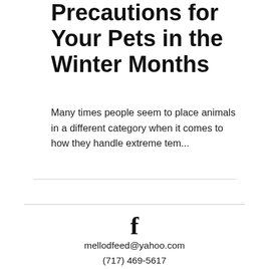Precautions for Your Pets in the Winter Months
Many times people seem to place animals in a different category when it comes to how they handle extreme tem...
f
mellodfeed@yahoo.com
(717) 469-5617